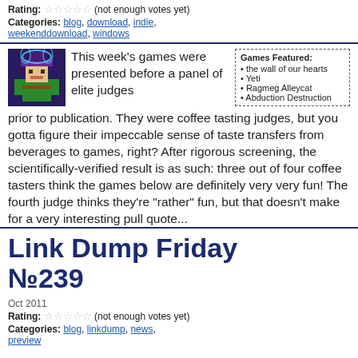Rating: ☆☆☆☆☆ (not enough votes yet)
Categories: blog, download, indie, weekenddownload, windows
[Figure (illustration): Pixel art game character - wizard/witch figure in green and purple robes with hat]
This week's games were presented before a panel of elite judges prior to publication. They were coffee tasting judges, but you gotta figure their impeccable sense of taste transfers from beverages to games, right? After rigorous screening, the scientifically-verified result is as such: three out of four coffee tasters think the games below are definitely very very fun! The fourth judge thinks they're "rather" fun, but that doesn't make for a very interesting pull quote...
| Games Featured: |
| --- |
| the wall of our hearts |
| Yeti |
| Ragmeg Alleycat |
| Abduction Destruction |
Link Dump Friday №239
Oct 2011
Rating: ☆☆☆☆☆ (not enough votes yet)
Categories: blog, linkdump, news, preview